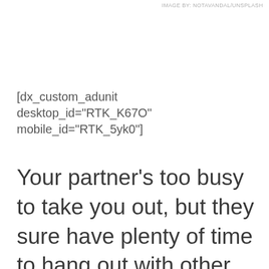IMAGE BY: NOTAVANDAL/Unsplash
[dx_custom_adunit desktop_id="RTK_K67O" mobile_id="RTK_5yk0"]
Your partner's too busy to take you out, but they sure have plenty of time to hang out with other people. Still, you try and see if you can plan a special trip